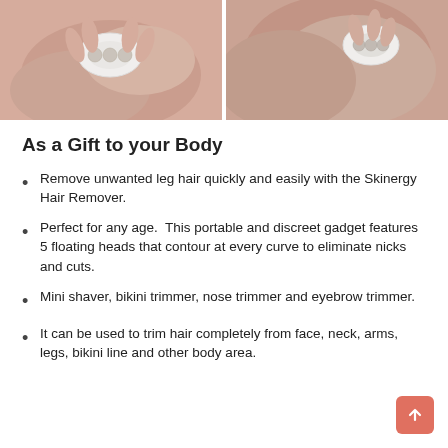[Figure (photo): Two side-by-side photos showing a person using a small white hair removal device on their skin (leg/body area)]
As a Gift to your Body
Remove unwanted leg hair quickly and easily with the Skinergy Hair Remover.
Perfect for any age.  This portable and discreet gadget features 5 floating heads that contour at every curve to eliminate nicks and cuts.
Mini shaver, bikini trimmer, nose trimmer and eyebrow trimmer.
It can be used to trim hair completely from face, neck, arms, legs, bikini line and other body area.